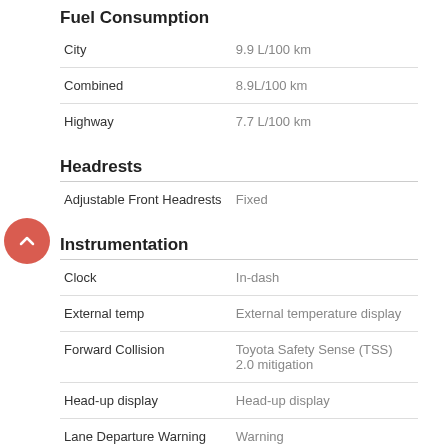Fuel Consumption
|  |  |
| --- | --- |
| City | 9.9 L/100 km |
| Combined | 8.9L/100 km |
| Highway | 7.7 L/100 km |
Headrests
|  |  |
| --- | --- |
| Adjustable Front Headrests | Fixed |
Instrumentation
|  |  |
| --- | --- |
| Clock | In-dash |
| External temp | External temperature display |
| Forward Collision | Toyota Safety Sense (TSS) 2.0 mitigation |
| Head-up display | Head-up display |
| Lane Departure Warning | Warning |
| Low fuel level | Low fuel level |
| Rear View Camera | Yes |
| Tachometer | Tachometer |